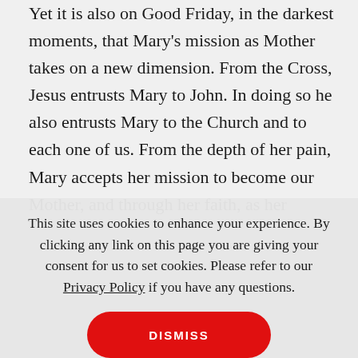Yet it is also on Good Friday, in the darkest moments, that Mary's mission as Mother takes on a new dimension. From the Cross, Jesus entrusts Mary to John. In doing so he also entrusts Mary to the Church and to each one of us. From the depth of her pain, Mary accepts her mission to become our Mother, and through her faith, as her children, the grace of hope is birthed in us. Even in the midst of unspeakable sorrow, Mary is leaning forward in hope of the Resurrection. Grief and faith and the...
This site uses cookies to enhance your experience. By clicking any link on this page you are giving your consent for us to set cookies. Please refer to our Privacy Policy if you have any questions.
DISMISS